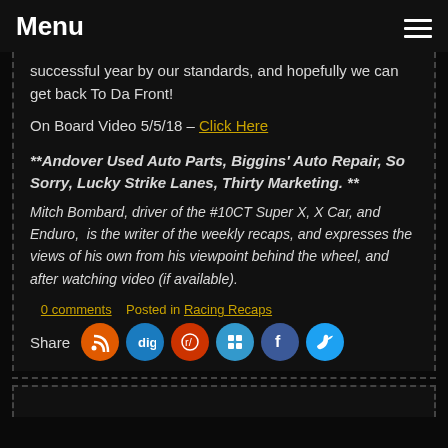Menu
successful year by our standards, and hopefully we can get back To Da Front!
On Board Video 5/5/18 – Click Here
**Andover Used Auto Parts, Biggins' Auto Repair, So Sorry, Lucky Strike Lanes, Thirty Marketing. **
Mitch Bombard, driver of the #10CT Super X, X Car, and Enduro,  is the writer of the weekly recaps, and expresses the views of his own from his viewpoint behind the wheel, and after watching video (if available).
0 comments   Posted in Racing Recaps
Share